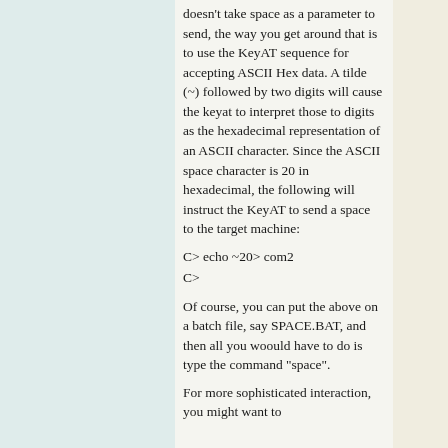doesn't take space as a parameter to send, the way you get around that is to use the KeyAT sequence for accepting ASCII Hex data. A tilde (~) followed by two digits will cause the keyat to interpret those to digits as the hexadecimal representation of an ASCII character. Since the ASCII space character is 20 in hexadecimal, the following will instruct the KeyAT to send a space to the target machine:
C> echo ~20> com2
C>
Of course, you can put the above on a batch file, say SPACE.BAT, and then all you woould have to do is type the command "space".
For more sophisticated interaction, you might want to